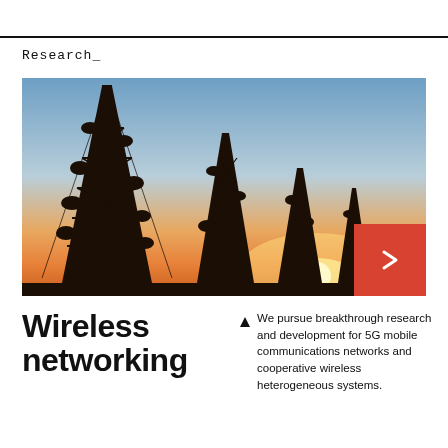Research_
[Figure (photo): Silhouettes of multiple telecommunications towers and antenna masts against a warm sunset sky with orange and blue gradient, viewed from below.]
Wireless networking
We pursue breakthrough research and development for 5G mobile communications networks and cooperative wireless heterogeneous systems.